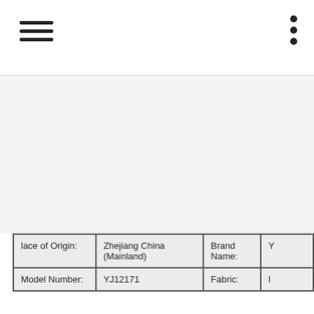[Figure (photo): Product image area (white/light gray background, appears to be a product listing page with image placeholder)]
| lace of Origin: | Zhejiang China (Mainland) | Brand Name: | Y |
| Model Number: | YJ12171 | Fabric: | l |